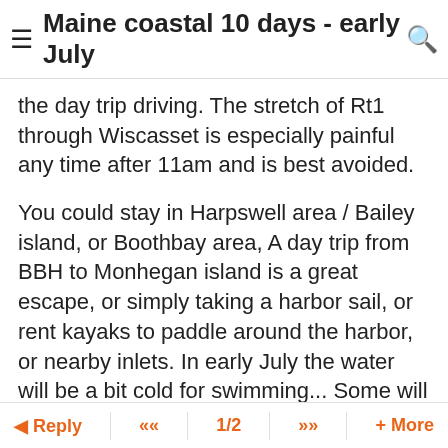Maine coastal 10 days - early July
the day trip driving. The stretch of Rt1 through Wiscasset is especially painful any time after 11am and is best avoided.
You could stay in Harpswell area / Bailey island, or Boothbay area, A day trip from BBH to Monhegan island is a great escape, or simply taking a harbor sail, or rent kayaks to paddle around the harbor, or nearby inlets. In early July the water will be a bit cold for swimming... Some will say the water is always too cold for swimming.....If you get a day in the 90s I know of some sheltered coves where the top 3" of the water will warm up to maybe 70... The trick is keeping all of your body above the top 3" of water...
The question about "best" lobster roll or lobster dinner frequently comes up. In my opinion the "best" is the one that is right nearby, and little to no wait... Lobster is an easy meal
Reply  <<  1/2  >>  + More